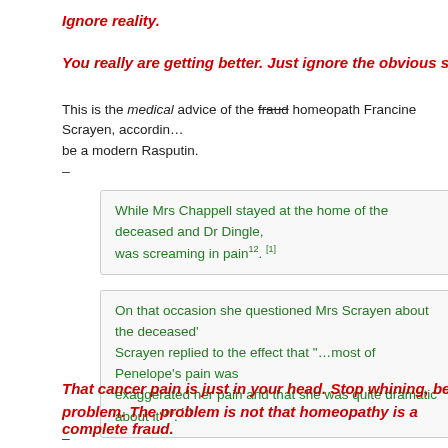Ignore reality.
You really are getting better. Just ignore the obvious signs that you are p...
This is the medical advice of the fraud homeopath Francine Scrayen, according... be a modern Rasputin.
–
While Mrs Chappell stayed at the home of the deceased and Dr Dingle, ... was screaming in pain12. [1]
On that occasion she questioned Mrs Scrayen about the deceased'... Scrayen replied to the effect that "...most of Penelope's pain was... exaggerated her pain and that she was quite dramatic about it"16. [1]
That cancer pain is just in your head. Stop whining, because the lack of... problem. The problem is not that homeopathy is a complete fraud.
–
The problem in this case was that Mrs Scrayen was not a competent hea...